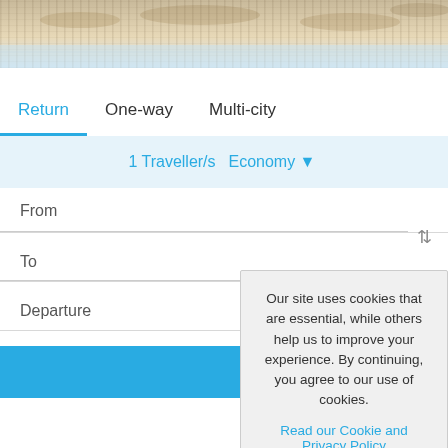[Figure (screenshot): Hero banner image with sandy/beach texture fading into light blue sky]
Return   One-way   Multi-city
1  Traveller/s  Economy ▼
From
To
Departure
Our site uses cookies that are essential, while others help us to improve your experience. By continuing, you agree to our use of cookies.
Read our Cookie and Privacy Policy
Dismiss   Got it!